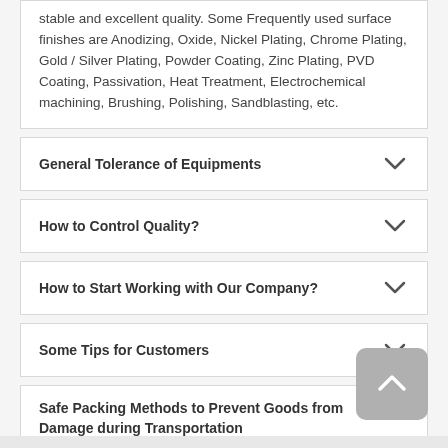stable and excellent quality. Some Frequently used surface finishes are Anodizing, Oxide, Nickel Plating, Chrome Plating, Gold / Silver Plating, Powder Coating, Zinc Plating, PVD Coating, Passivation, Heat Treatment, Electrochemical machining, Brushing, Polishing, Sandblasting, etc.
General Tolerance of Equipments
How to Control Quality?
How to Start Working with Our Company?
Some Tips for Customers
Safe Packing Methods to Prevent Goods from Damage during Transportation